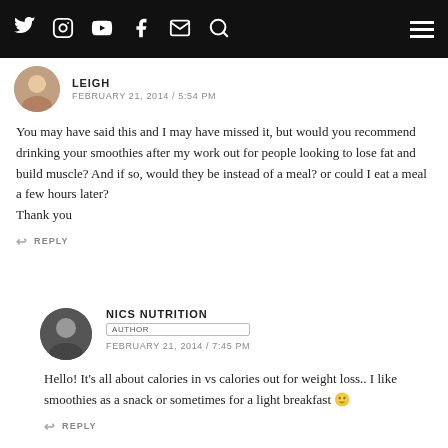Navigation bar with social icons (Twitter, Instagram, YouTube, Facebook, Email, Search) and hamburger menu
LEIGH
FEBRUARY 21, 2014 / 5:54 PM
You may have said this and I may have missed it, but would you recommend drinking your smoothies after my work out for people looking to lose fat and build muscle? And if so, would they be instead of a meal? or could I eat a meal a few hours later?
Thank you
REPLY
NICS NUTRITION
AUTHOR
FEBRUARY 21, 2014 / 7:45 PM
Hello! It’s all about calories in vs calories out for weight loss.. I like smoothies as a snack or sometimes for a light breakfast 😊
REPLY